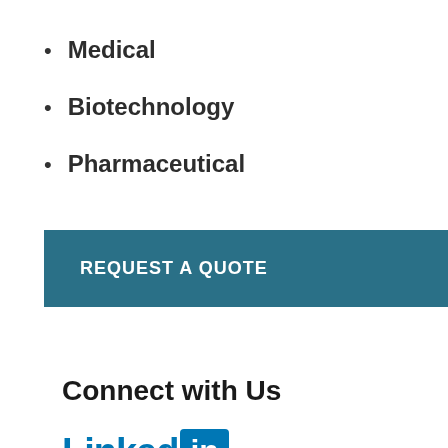Medical
Biotechnology
Pharmaceutical
[Figure (other): REQUEST A QUOTE button — teal/dark-cyan rectangular button with white bold uppercase text]
Connect with Us
[Figure (logo): LinkedIn logo — blue 'Linked' text followed by a blue box with white 'in' letters]